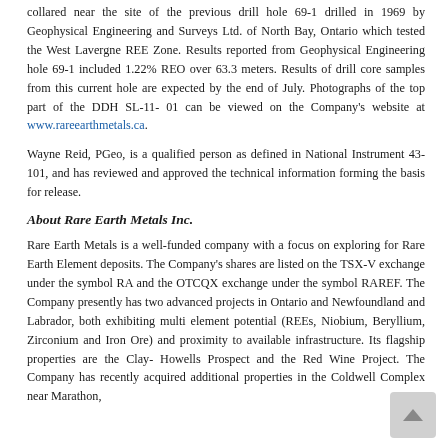collared near the site of the previous drill hole 69-1 drilled in 1969 by Geophysical Engineering and Surveys Ltd. of North Bay, Ontario which tested the West Lavergne REE Zone. Results reported from Geophysical Engineering hole 69-1 included 1.22% REO over 63.3 meters. Results of drill core samples from this current hole are expected by the end of July. Photographs of the top part of the DDH SL-11-01 can be viewed on the Company's website at www.rareearthmetals.ca.
Wayne Reid, PGeo, is a qualified person as defined in National Instrument 43-101, and has reviewed and approved the technical information forming the basis for release.
About Rare Earth Metals Inc.
Rare Earth Metals is a well-funded company with a focus on exploring for Rare Earth Element deposits. The Company's shares are listed on the TSX-V exchange under the symbol RA and the OTCQX exchange under the symbol RAREF. The Company presently has two advanced projects in Ontario and Newfoundland and Labrador, both exhibiting multi element potential (REEs, Niobium, Beryllium, Zirconium and Iron Ore) and proximity to available infrastructure. Its flagship properties are the Clay-Howells Prospect and the Red Wine Project. The Company has recently acquired additional properties in the Coldwell Complex near Marathon,